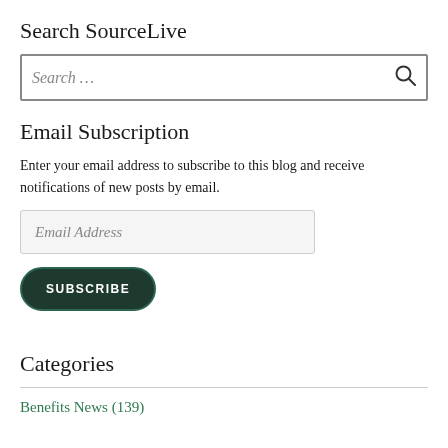Search SourceLive
[Figure (screenshot): Search input box with placeholder text 'Search ...' and a magnifying glass icon on the right]
Email Subscription
Enter your email address to subscribe to this blog and receive notifications of new posts by email.
[Figure (screenshot): Email address input field with placeholder text 'Email Address' on a light grey background]
[Figure (screenshot): Dark green rounded SUBSCRIBE button with white uppercase text]
Categories
Benefits News (139)